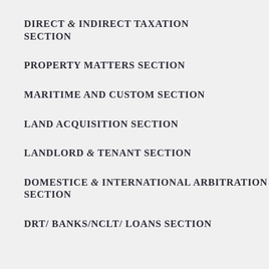DIRECT & INDIRECT TAXATION SECTION
PROPERTY MATTERS SECTION
MARITIME AND CUSTOM SECTION
LAND ACQUISITION SECTION
LANDLORD & TENANT SECTION
DOMESTICE & INTERNATIONAL ARBITRATION SECTION
DRT/ BANKS/NCLT/ LOANS SECTION